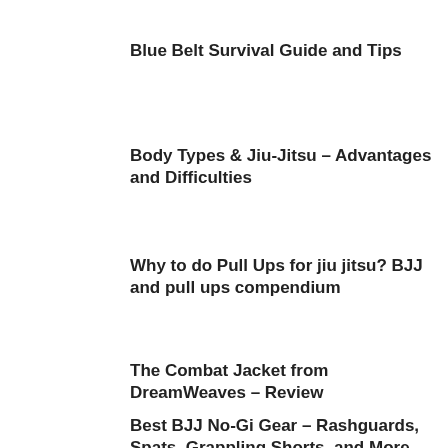Blue Belt Survival Guide and Tips
Body Types & Jiu-Jitsu – Advantages and Difficulties
Why to do Pull Ups for jiu jitsu? BJJ and pull ups compendium
The Combat Jacket from DreamWeaves – Review
Best BJJ No-Gi Gear – Rashguards, Spats, Grappling Shorts, and More